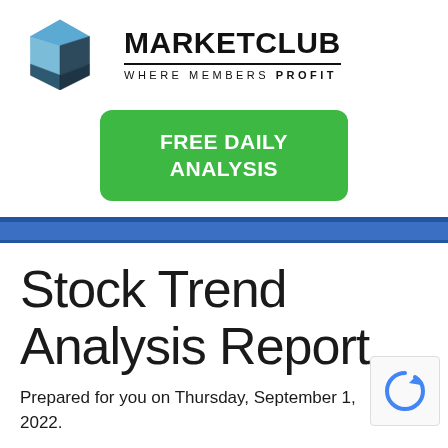[Figure (logo): MarketClub logo: geometric cube icon in dark teal/blue with a light blue diamond top, beside bold text MARKETCLUB with tagline WHERE MEMBERS PROFIT]
[Figure (other): Green rounded rectangle button with white bold text FREE DAILY ANALYSIS]
Stock Trend Analysis Report
Prepared for you on Thursday, September 1, 2022.